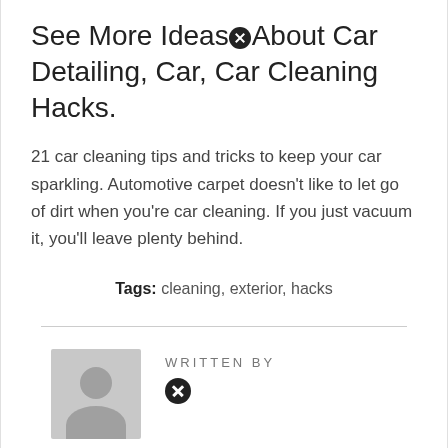See More Ideas About Car Detailing, Car, Car Cleaning Hacks.
21 car cleaning tips and tricks to keep your car sparkling. Automotive carpet doesn't like to let go of dirt when you're car cleaning. If you just vacuum it, you'll leave plenty behind.
Tags: cleaning, exterior, hacks
WRITTEN BY